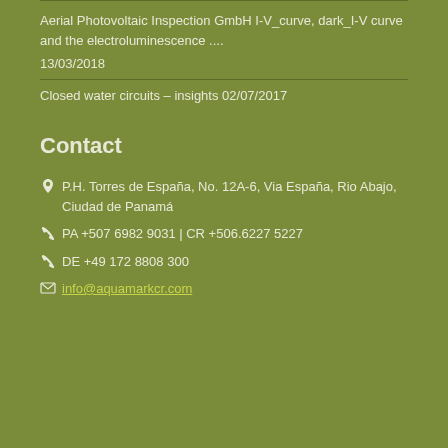Aerial Photovoltaic Inspection GmbH I-V_curve, dark_I-V curve and the electroluminescence ....
13/03/2018
Closed water circuits – insights 02/07/2017
Contact
P.H. Torres de España, No. 12A-6, Via España, Rio Abajo, Ciudad de Panamá
PA +507 6982 9031 | CR +506.6227 5227
DE +49 172 8808 300
info@aquamarkcr.com